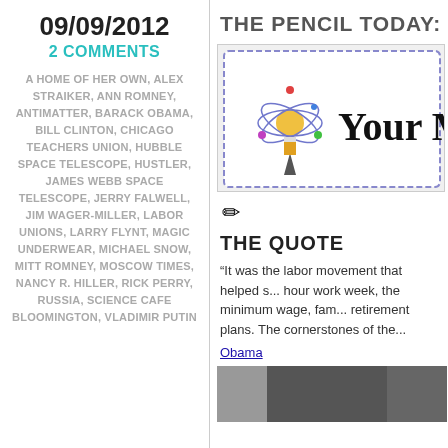09/09/2012
2 COMMENTS
A HOME OF HER OWN, ALEX STRAIKER, ANN ROMNEY, ANTIMATTER, BARACK OBAMA, BILL CLINTON, CHICAGO TEACHERS UNION, HUBBLE SPACE TELESCOPE, HUSTLER, JAMES WEBB SPACE TELESCOPE, JERRY FALWELL, JIM WAGER-MILLER, LABOR UNIONS, LARRY FLYNT, MAGIC UNDERWEAR, MICHAEL SNOW, MITT ROMNEY, MOSCOW TIMES, NANCY R. HILLER, RICK PERRY, RUSSIA, SCIENCE CAFE BLOOMINGTON, VLADIMIR PUTIN
THE PENCIL TODAY:
[Figure (illustration): Illustration showing an atom diagram with colorful orbiting electrons and a pencil tip below, beside the text 'Your M...']
✏
THE QUOTE
“It was the labor movement that helped s... hour work week, the minimum wage, fam... retirement plans. The cornerstones of the...
Obama
[Figure (photo): Black and white photo at the bottom, partially visible]